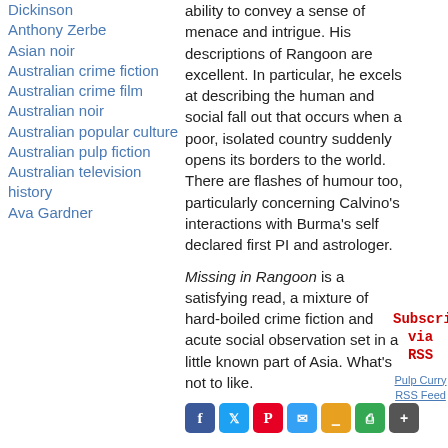Dickinson
Anthony Zerbe
Asian noir
Australian crime fiction
Australian crime film
Australian noir
Australian popular culture
Australian pulp fiction
Australian television history
Ava Gardner
ability to convey a sense of menace and intrigue. His descriptions of Rangoon are excellent. In particular, he excels at describing the human and social fall out that occurs when a poor, isolated country suddenly opens its borders to the world. There are flashes of humour too, particularly concerning Calvino's interactions with Burma's self declared first PI and astrologer.
Missing in Rangoon is a satisfying read, a mixture of hard-boiled crime fiction and acute social observation set in a little known part of Asia. What's not to like.
Subscribe via RSS
Pulp Curry RSS Feed
[Figure (other): Social media sharing icons: Facebook, Twitter, Pinterest, Email, Print, Google+, More]